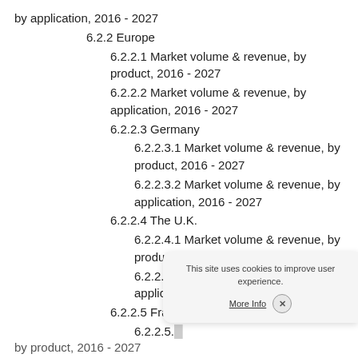by application, 2016 - 2027
6.2.2 Europe
6.2.2.1 Market volume & revenue, by product, 2016 - 2027
6.2.2.2 Market volume & revenue, by application, 2016 - 2027
6.2.2.3 Germany
6.2.2.3.1 Market volume & revenue, by product, 2016 - 2027
6.2.2.3.2 Market volume & revenue, by application, 2016 - 2027
6.2.2.4 The U.K.
6.2.2.4.1 Market volume & revenue, by product, 2016 - 2027
6.2.2.4.2 Market volume & revenue, by application, 2016 - 2027
6.2.2.5 Fra...
6.2.2.5....
by product, 2016 - 2027